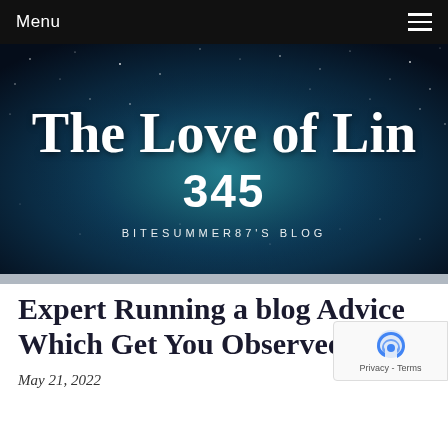Menu
[Figure (illustration): Blog header banner with dark blue/teal starry night sky background. Displays cursive white text 'The Love of Lin 345' and subtitle 'BITESUMMER87'S BLOG' in spaced uppercase letters.]
Expert Running a blog Advice Which Get You Observed
May 21, 2022